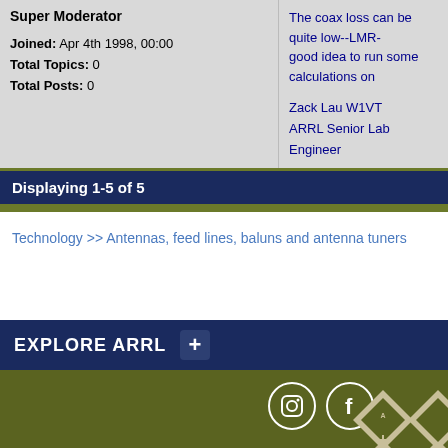Super Moderator
Joined: Apr 4th 1998, 00:00
Total Topics: 0
Total Posts: 0
The coax loss can be quite low--LMR-... good idea to run some calculations on...
Zack Lau W1VT
ARRL Senior Lab Engineer
Displaying 1-5 of 5
Technology >> Antennas, feed lines, baluns and antenna tuners
EXPLORE ARRL
ARRL
The National Association for Amateur Radio®
225 Main Street
Newington, CT, 06111-1400 USA
Tel: 1-860-594-0200 | Fax: 1-860-594-0259
Toll-free: 1-888-277-5289
hq@arrl.org